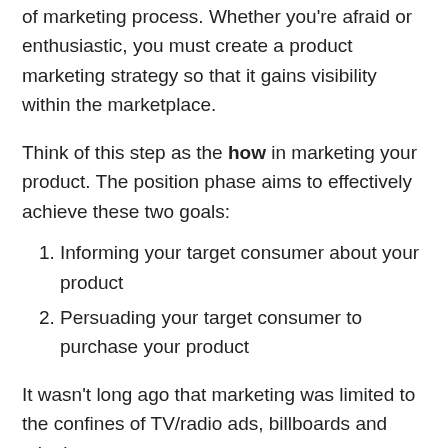of marketing process. Whether you're afraid or enthusiastic, you must create a product marketing strategy so that it gains visibility within the marketplace.
Think of this step as the how in marketing your product. The position phase aims to effectively achieve these two goals:
Informing your target consumer about your product
Persuading your target consumer to purchase your product
It wasn't long ago that marketing was limited to the confines of TV/radio ads, billboards and telephone